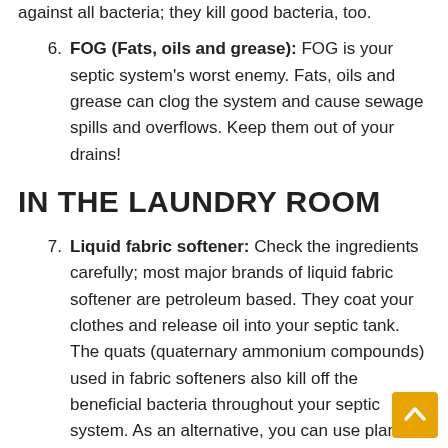against all bacteria; they kill good bacteria, too.
6. FOG (Fats, oils and grease): FOG is your septic system's worst enemy. Fats, oils and grease can clog the system and cause sewage spills and overflows. Keep them out of your drains!
IN THE LAUNDRY ROOM
7. Liquid fabric softener: Check the ingredients carefully; most major brands of liquid fabric softener are petroleum based. They coat your clothes and release oil into your septic tank. The quats (quaternary ammonium compounds) used in fabric softeners also kill off the beneficial bacteria throughout your septic system. As an alternative, you can use plant-based fabric softeners, or simply pour ¼ cup of distilled white vinegar into the w
8. [partial — cut off at bottom]